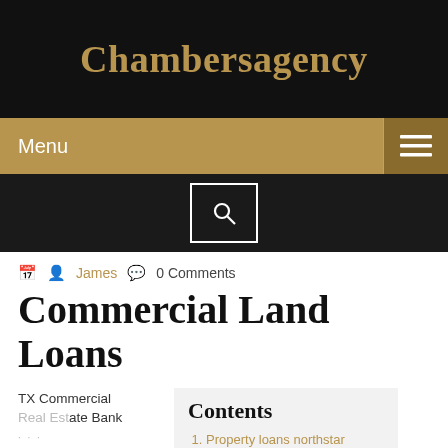Chambersagency
Menu
James  0 Comments
Commercial Land Loans
TX Commercial Real Estate Bank | Texas Capital Bank
Contents
Property loans northstar capital
Finance office buildings